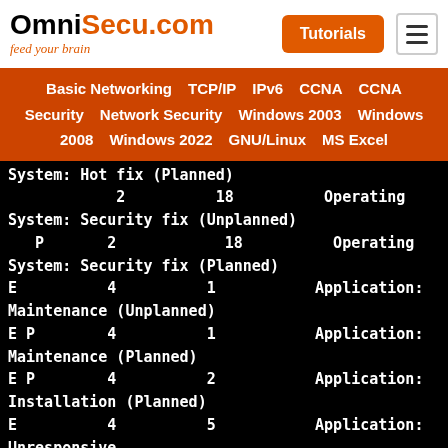OmniSecu.com feed your brain | Tutorials
Basic Networking  TCP/IP  IPv6  CCNA  CCNA Security  Network Security  Windows 2003  Windows 2008  Windows 2022  GNU/Linux  MS Excel
System: Hot fix (Planned)
            2          18          Operating
System: Security fix (Unplanned)
   P       2          18          Operating
System: Security fix (Planned)
E          4          1           Application:
Maintenance (Unplanned)
E P        4          1           Application:
Maintenance (Planned)
E P        4          2           Application:
Installation (Planned)
E          4          5           Application:
Unresponsive
E          4          6           Application:
Unstable